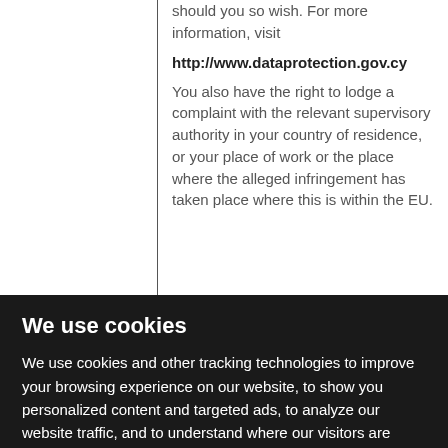|  | should you so wish. For more information, visit

http://www.dataprotection.gov.cy

You also have the right to lodge a complaint with the relevant supervisory authority in your country of residence, or your place of work or the place where the alleged infringement has taken place where this is within the EU. |
We use cookies
We use cookies and other tracking technologies to improve your browsing experience on our website, to show you personalized content and targeted ads, to analyze our website traffic, and to understand where our visitors are coming from.